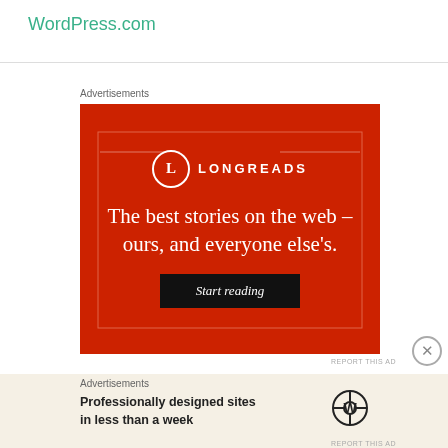WordPress.com
[Figure (illustration): Longreads advertisement banner on red background with logo, tagline 'The best stories on the web – ours, and everyone else's.' and 'Start reading' button]
Advertisements
[Figure (illustration): WordPress.com advertisement on beige background: 'Professionally designed sites in less than a week' with WordPress logo]
Advertisements